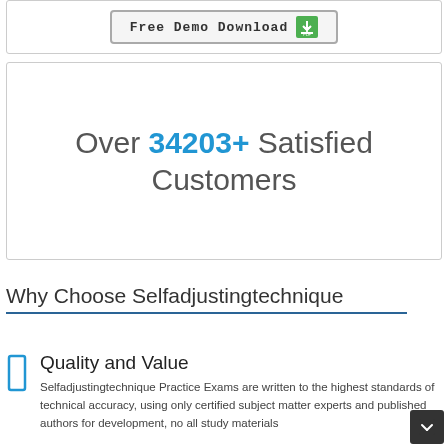[Figure (screenshot): Free Demo Download button with green download icon]
Over 34203+ Satisfied Customers
Why Choose Selfadjustingtechnique
Quality and Value
Selfadjustingtechnique Practice Exams are written to the highest standards of technical accuracy, using only certified subject matter experts and published authors for development, no all study materials